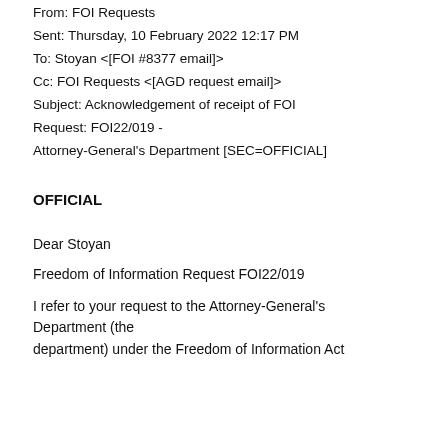From: FOI Requests
Sent: Thursday, 10 February 2022 12:17 PM
To: Stoyan <[FOI #8377 email]>
Cc: FOI Requests <[AGD request email]>
Subject: Acknowledgement of receipt of FOI Request: FOI22/019 - Attorney-General's Department [SEC=OFFICIAL]
OFFICIAL
Dear Stoyan
Freedom of Information Request FOI22/019
I refer to your request to the Attorney-General's Department (the department) under the Freedom of Information Act